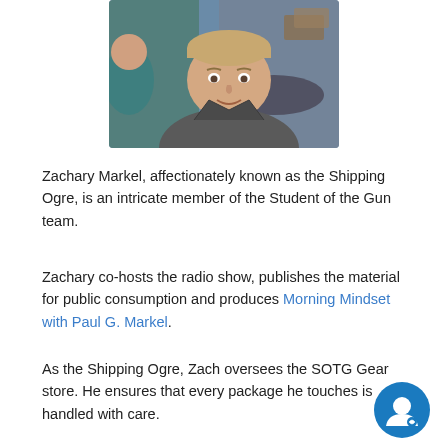[Figure (photo): Selfie photo of a young man with short hair wearing a grey zip-up jacket, smiling at the camera, taken indoors.]
Zachary Markel, affectionately known as the Shipping Ogre, is an intricate member of the Student of the Gun team.
Zachary co-hosts the radio show, publishes the material for public consumption and produces Morning Mindset with Paul G. Markel.
As the Shipping Ogre, Zach oversees the SOTG Gear store. He ensures that every package he touches is handled with care.